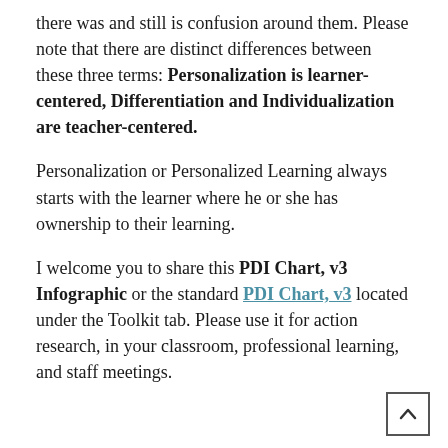there was and still is confusion around them. Please note that there are distinct differences between these three terms: Personalization is learner-centered, Differentiation and Individualization are teacher-centered.
Personalization or Personalized Learning always starts with the learner where he or she has ownership to their learning.
I welcome you to share this PDI Chart, v3 Infographic or the standard PDI Chart, v3 located under the Toolkit tab. Please use it for action research, in your classroom, professional learning, and staff meetings.